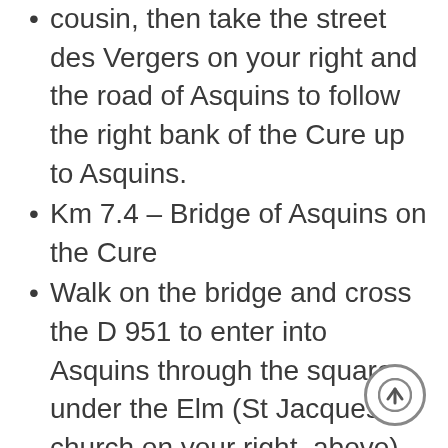cousin, then take the street des Vergers on your right and the road of Asquins to follow the right bank of the Cure up to Asquins.
Km 7.4 – Bridge of Asquins on the Cure
Walk on the bridge and cross the D 951 to enter into Asquins through the square under the Elm (St Jacques church on your right, above)
Turn on your left going up the Grande Rue
Km 8.1 – Crossroads of the Croix d'Asquins
Take in front of you, on your right, the Way of St Jacques going up ( halfway, on your left, a small road going to La Cordelle